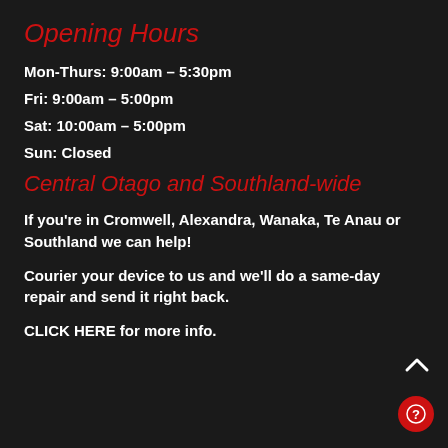Opening Hours
Mon-Thurs: 9:00am – 5:30pm
Fri: 9:00am – 5:00pm
Sat: 10:00am – 5:00pm
Sun: Closed
Central Otago and Southland-wide
If you're in Cromwell, Alexandra, Wanaka, Te Anau or Southland we can help!
Courier your device to us and we'll do a same-day repair and send it right back.
CLICK HERE for more info.